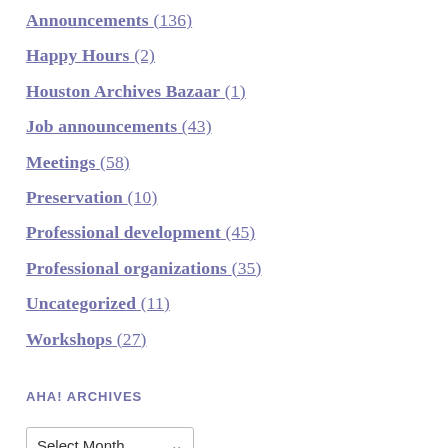Announcements (136)
Happy Hours (2)
Houston Archives Bazaar (1)
Job announcements (43)
Meetings (58)
Preservation (10)
Professional development (45)
Professional organizations (35)
Uncategorized (11)
Workshops (27)
AHA! ARCHIVES
Select Month
Tweets by hou_archivists